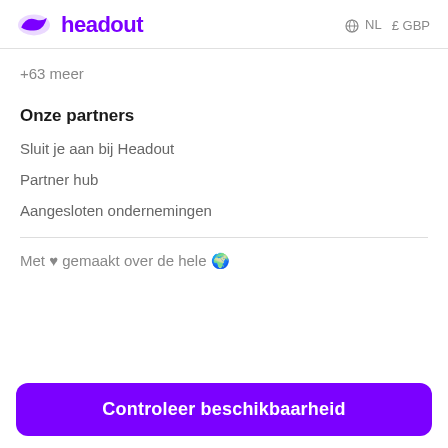headout   NL  £ GBP
+63 meer
Onze partners
Sluit je aan bij Headout
Partner hub
Aangesloten ondernemingen
Met ♥ gemaakt over de hele 🌍
Controleer beschikbaarheid